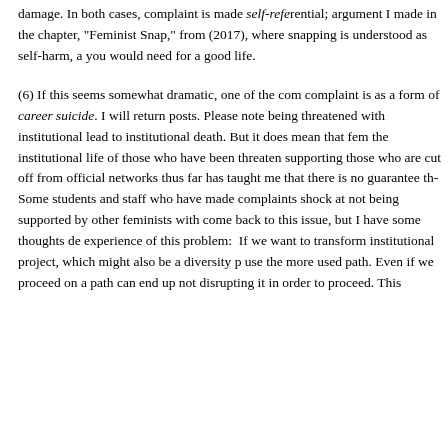damage. In both cases, complaint is made self-referential; argument I made in the chapter, "Feminist Snap," from (2017), where snapping is understood as self-harm, and you would need for a good life.
(6) If this seems somewhat dramatic, one of the common complaint is as a form of career suicide. I will return to posts. Please note being threatened with institutional lead to institutional death. But it does mean that feminist the institutional life of those who have been threatened supporting those who are cut off from official networks thus far has taught me that there is no guarantee that. Some students and staff who have made complaints shock at not being supported by other feminists with come back to this issue, but I have some thoughts drawn experience of this problem: If we want to transform institutional project, which might also be a diversity project use the more used path. Even if we proceed on a path can end up not disrupting it in order to proceed. This